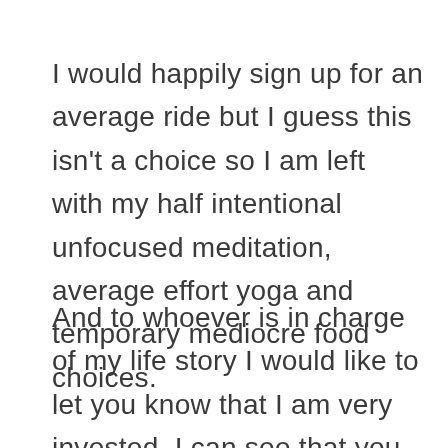I would happily sign up for an average ride but I guess this isn't a choice so I am left with my half intentional unfocused meditation, average effort yoga and temporary mediocre food choices.
And to whoever is in charge of my life story I would like to let you know that I am very invested. I can see that you are very into sharp turns and twists